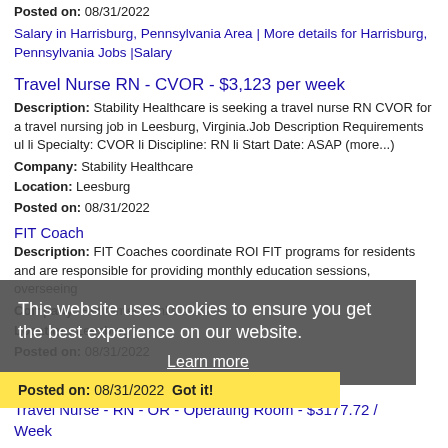Posted on: 08/31/2022
Salary in Harrisburg, Pennsylvania Area | More details for Harrisburg, Pennsylvania Jobs |Salary
Travel Nurse RN - CVOR - $3,123 per week
Description: Stability Healthcare is seeking a travel nurse RN CVOR for a travel nursing job in Leesburg, Virginia.Job Description Requirements ul li Specialty: CVOR li Discipline: RN li Start Date: ASAP (more...)
Company: Stability Healthcare
Location: Leesburg
Posted on: 08/31/2022
FIT Coach
Description: FIT Coaches coordinate ROI FIT programs for residents and are responsible for providing monthly education sessions, overseeing
Company: Retirement Unlimited Inc
Location: Leesburg
Posted on: 08/31/2022  Got it!
This website uses cookies to ensure you get the best experience on our website.
Learn more
Travel Nurse - RN - OR - Operating Room - $3177.72 / Week